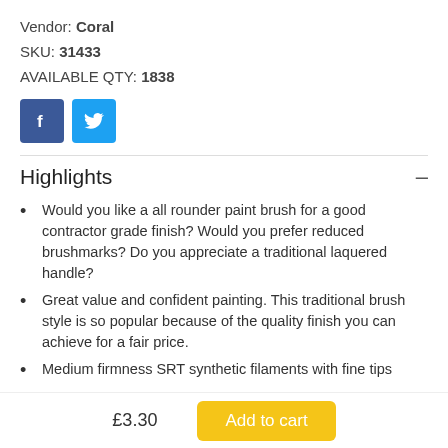Vendor: Coral
SKU: 31433
AVAILABLE QTY: 1838
[Figure (other): Facebook and Twitter social share buttons]
Highlights
Would you like a all rounder paint brush for a good contractor grade finish? Would you prefer reduced brushmarks? Do you appreciate a traditional laquered handle?
Great value and confident painting. This traditional brush style is so popular because of the quality finish you can achieve for a fair price.
Medium firmness SRT synthetic filaments with fine tips
£3.30  Add to cart